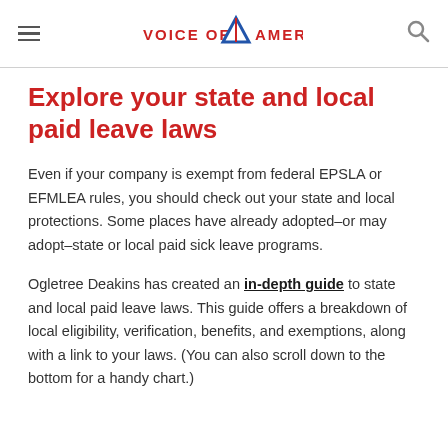VOICE OF AMERICA
Explore your state and local paid leave laws
Even if your company is exempt from federal EPSLA or EFMLEA rules, you should check out your state and local protections. Some places have already adopted–or may adopt–state or local paid sick leave programs.
Ogletree Deakins has created an in-depth guide to state and local paid leave laws. This guide offers a breakdown of local eligibility, verification, benefits, and exemptions, along with a link to your laws. (You can also scroll down to the bottom for a handy chart.)